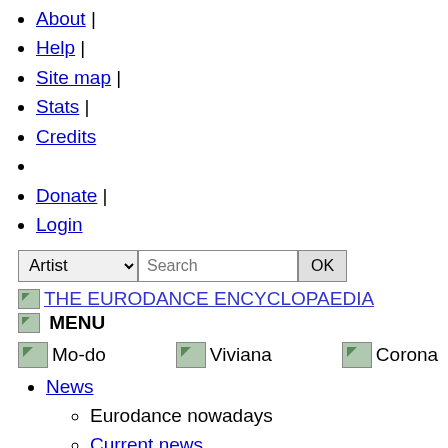About |
Help |
Site map |
Stats |
Credits
Donate |
Login
[Figure (screenshot): Search bar with Artist dropdown, text field, and OK button]
THE EURODANCE ENCYCLOPAEDIA
MENU
[Figure (photo): Thumbnails of Mo-do, Viviana, and Corona artists]
News
Eurodance nowadays
Current news
Twitter
10 top eurodance news for 2012
News history
Year 2022